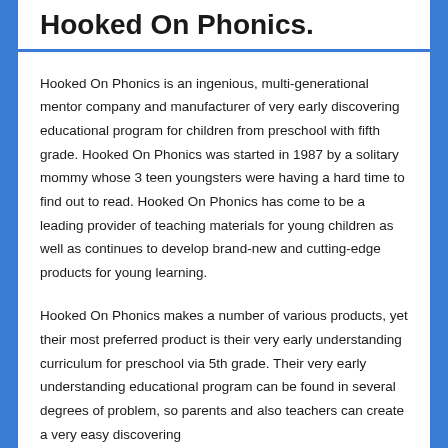Hooked On Phonics.
Hooked On Phonics is an ingenious, multi-generational mentor company and manufacturer of very early discovering educational program for children from preschool with fifth grade. Hooked On Phonics was started in 1987 by a solitary mommy whose 3 teen youngsters were having a hard time to find out to read. Hooked On Phonics has come to be a leading provider of teaching materials for young children as well as continues to develop brand-new and cutting-edge products for young learning.
Hooked On Phonics makes a number of various products, yet their most preferred product is their very early understanding curriculum for preschool via 5th grade. Their very early understanding educational program can be found in several degrees of problem, so parents and also teachers can create a very easy discovering